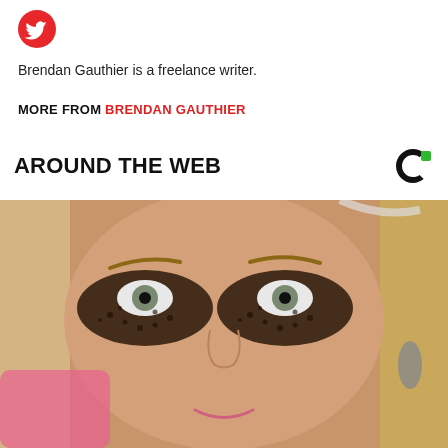[Figure (logo): Twitter bird logo icon in red/orange color]
Brendan Gauthier is a freelance writer.
MORE FROM BRENDAN GAUTHIER
AROUND THE WEB
[Figure (logo): Outbrain logo — circular black C shape with green square accent]
[Figure (photo): Close-up photo of a blonde woman applying dramatic dark glitter/spidery eye makeup with pink nails, wearing a dangling earring]